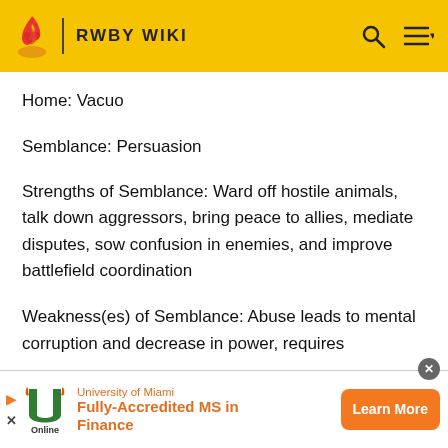RWBY WIKI
Home: Vacuo
Semblance: Persuasion
Strengths of Semblance: Ward off hostile animals, talk down aggressors, bring peace to allies, mediate disputes, sow confusion in enemies, and improve battlefield coordination
Weakness(es) of Semblance: Abuse leads to mental corruption and decrease in power, requires concentration, requires greater will
[Figure (other): University of Miami advertisement banner: Fully-Accredited MS in Finance, Learn More button]